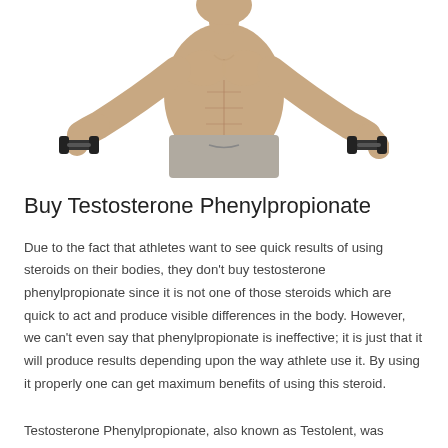[Figure (photo): Muscular male torso holding dumbbells in both hands, wearing grey gym shorts, white background]
Buy Testosterone Phenylpropionate
Due to the fact that athletes want to see quick results of using steroids on their bodies, they don't buy testosterone phenylpropionate since it is not one of those steroids which are quick to act and produce visible differences in the body. However, we can't even say that phenylpropionate is ineffective; it is just that it will produce results depending upon the way athlete use it. By using it properly one can get maximum benefits of using this steroid.
Testosterone Phenylpropionate, also known as Testolent, was initially manufactured by extracting it from...